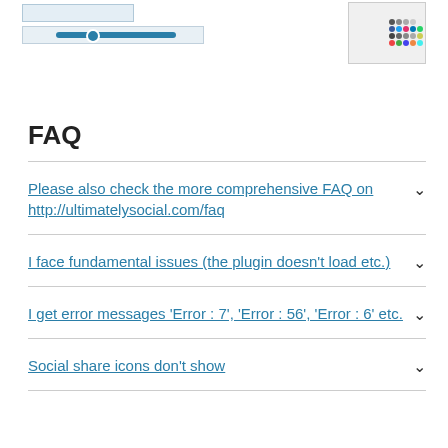[Figure (screenshot): Partial screenshot of a plugin settings UI showing input fields and slider controls on the left, and a color/icon grid on the right]
FAQ
Please also check the more comprehensive FAQ on http://ultimatelysocial.com/faq
I face fundamental issues (the plugin doesn't load etc.)
I get error messages 'Error : 7', 'Error : 56', 'Error : 6' etc.
Social share icons don't show